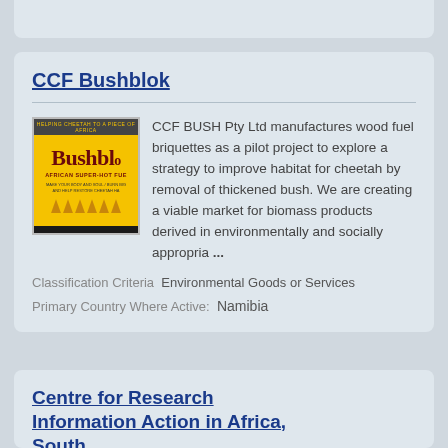CCF Bushblok
[Figure (photo): Bushblok product packaging - yellow bag with 'Bushblok African Super-Hot Fuel' branding and flame graphics]
CCF BUSH Pty Ltd manufactures wood fuel briquettes as a pilot project to explore a strategy to improve habitat for cheetah by removal of thickened bush. We are creating a viable market for biomass products derived in environmentally and socially appropria ...
Classification Criteria  Environmental Goods or Services
Primary Country Where Active:  Namibia
Centre for Research Information Action in Africa, South